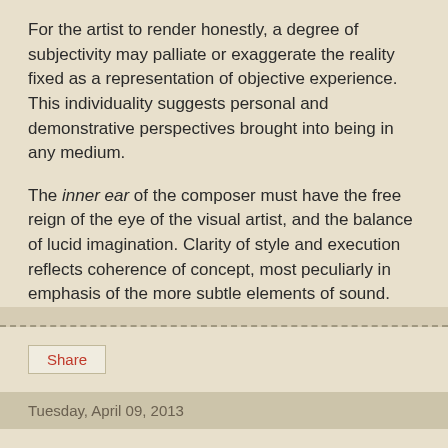For the artist to render honestly, a degree of subjectivity may palliate or exaggerate the reality fixed as a representation of objective experience.  This individuality suggests personal and demonstrative perspectives brought into being in any medium.
The inner ear of the composer must have the free reign of the eye of the visual artist, and the balance of lucid imagination.  Clarity of style and execution reflects coherence of concept, most peculiarly in emphasis of the more subtle elements of sound.
Share
Tuesday, April 09, 2013
Auditory Imagination
The sounds of experience may evoke the broad vistas or